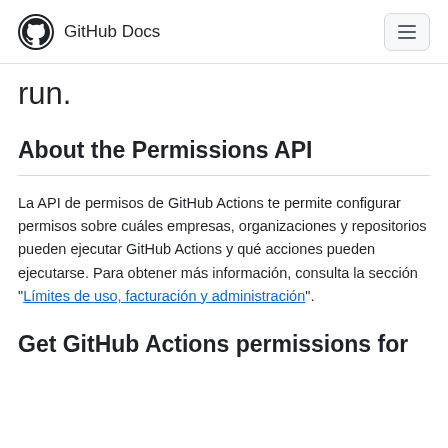GitHub Docs
run.
About the Permissions API
La API de permisos de GitHub Actions te permite configurar permisos sobre cuáles empresas, organizaciones y repositorios pueden ejecutar GitHub Actions y qué acciones pueden ejecutarse. Para obtener más información, consulta la sección "Límites de uso, facturación y administración".
Get GitHub Actions permissions for